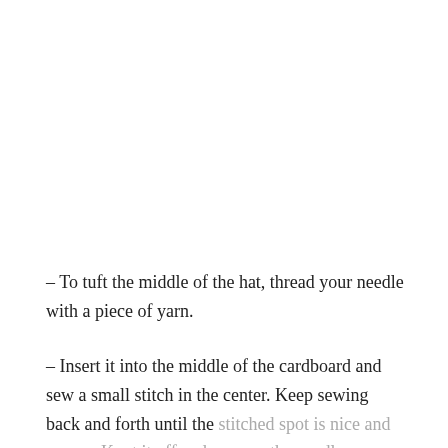– To tuft the middle of the hat, thread your needle with a piece of yarn.
– Insert it into the middle of the cardboard and sew a small stitch in the center. Keep sewing back and forth until the stitched spot is nice and secure. Knot it off and remove the needle.